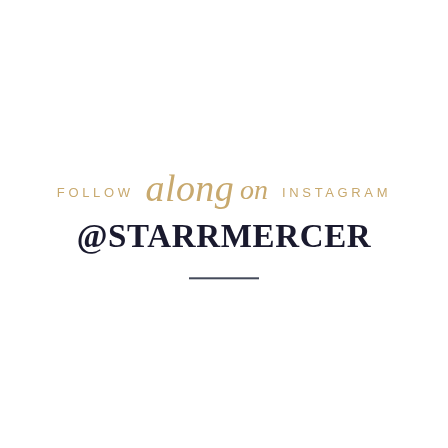FOLLOW along on INSTAGRAM @STARRMERCER